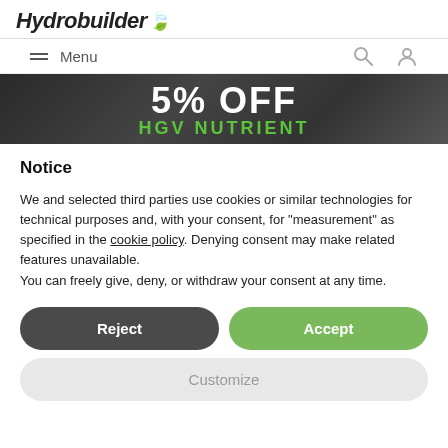Hydrobuilder
[Figure (screenshot): Navigation bar with hamburger Menu icon, search icon, and user account icon]
[Figure (photo): Banner showing '5% OFF HGV NUTRIENT' promotional banner with dark background and green text]
Notice
We and selected third parties use cookies or similar technologies for technical purposes and, with your consent, for "measurement" as specified in the cookie policy. Denying consent may make related features unavailable.
You can freely give, deny, or withdraw your consent at any time.
[Figure (screenshot): Two buttons: Reject (dark gray, rounded) and Accept (green, rounded)]
[Figure (screenshot): Customize button (light gray, rounded)]